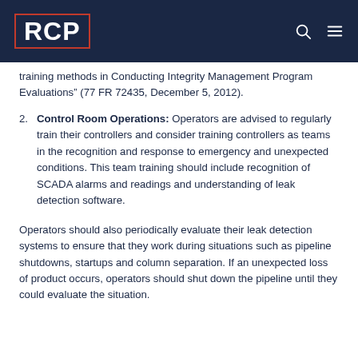RCP
training methods in Conducting Integrity Management Program Evaluations” (77 FR 72435, December 5, 2012).
2. Control Room Operations: Operators are advised to regularly train their controllers and consider training controllers as teams in the recognition and response to emergency and unexpected conditions. This team training should include recognition of SCADA alarms and readings and understanding of leak detection software.
Operators should also periodically evaluate their leak detection systems to ensure that they work during situations such as pipeline shutdowns, startups and column separation. If an unexpected loss of product occurs, operators should shut down the pipeline until they could evaluate the situation.